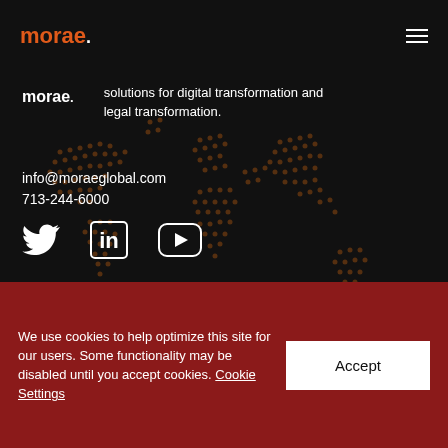morae
solutions for digital transformation and legal transformation.
info@moraeglobal.com
713-244-6000
[Figure (illustration): Social media icons: Twitter bird, LinkedIn 'in', YouTube play button]
[Figure (map): World map dotted pattern in dark orange/brown on dark background]
We use cookies to help optimize this site for our users. Some functionality may be disabled until you accept cookies. Cookie Settings
Accept